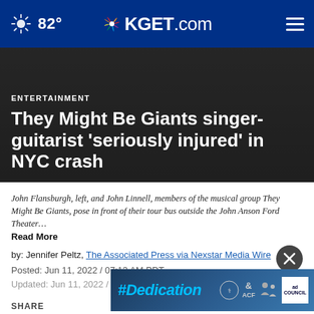82° KGET.com
ENTERTAINMENT
They Might Be Giants singer-guitarist 'seriously injured' in NYC crash
John Flansburgh, left, and John Linnell, members of the musical group They Might Be Giants, pose in front of their tour bus outside the John Anson Ford Theater…
Read More
by: Jennifer Peltz, The Associated Press via Nexstar Media Wire
Posted: Jun 11, 2022 / 07:13 AM PDT
Updated: Jun 11, 2022 / 10:41 PM PDT
SHARE